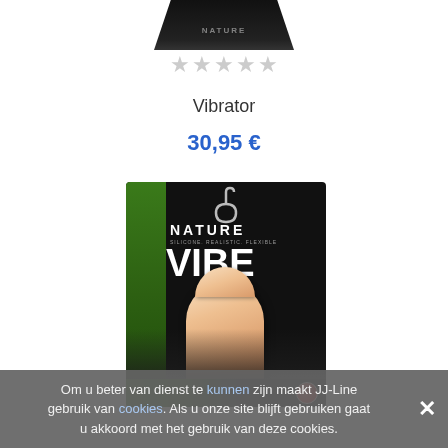[Figure (photo): Top portion of a dark product box visible at top of page]
★★★★★ (star rating, all empty/grey)
Vibrator
30,95 €
[Figure (photo): Nature Vibe product box showing a realistic vibrator, black box with green accent and bold white text reading NATURE VIBE]
Om u beter van dienst te kunnen zijn maakt JJ-Line gebruik van cookies. Als u onze site blijft gebruiken gaat u akkoord met het gebruik van deze cookies.